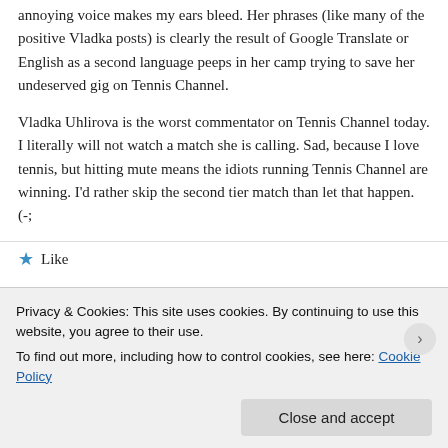annoying voice makes my ears bleed. Her phrases (like many of the positive Vladka posts) is clearly the result of Google Translate or English as a second language peeps in her camp trying to save her undeserved gig on Tennis Channel.
Vladka Uhlirova is the worst commentator on Tennis Channel today. I literally will not watch a match she is calling. Sad, because I love tennis, but hitting mute means the idiots running Tennis Channel are winning. I'd rather skip the second tier match than let that happen. (-;
★ Like
Privacy & Cookies: This site uses cookies. By continuing to use this website, you agree to their use.
To find out more, including how to control cookies, see here: Cookie Policy
Close and accept